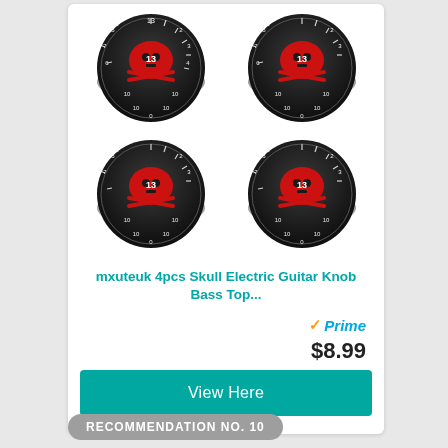[Figure (photo): Four black guitar knobs with red skull and crossbones design and white number markings, arranged in a 2x2 grid]
mxuteuk 4pcs Skull Electric Guitar Knob Bass Top...
[Figure (logo): Amazon Prime logo with checkmark and 'Prime' text in blue italic]
$8.99
View Here
RECOMMENDATION NO. 10